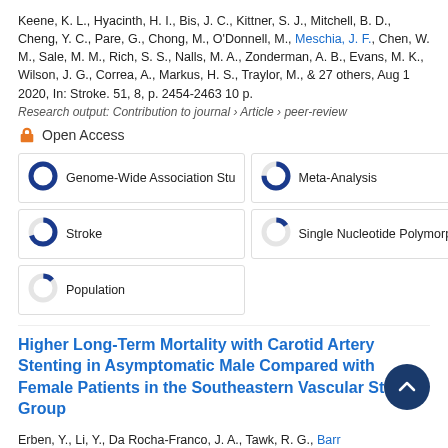Keene, K. L., Hyacinth, H. I., Bis, J. C., Kittner, S. J., Mitchell, B. D., Cheng, Y. C., Pare, G., Chong, M., O'Donnell, M., Meschia, J. F., Chen, W. M., Sale, M. M., Rich, S. S., Nalls, M. A., Zonderman, A. B., Evans, M. K., Wilson, J. G., Correa, A., Markus, H. S., Traylor, M., & 27 others, Aug 1 2020, In: Stroke. 51, 8, p. 2454-2463 10 p.
Research output: Contribution to journal › Article › peer-review
Open Access
[Figure (infographic): Five keyword badges with donut chart icons: Genome-Wide Association Study (100%), Meta-Analysis (~75%), Stroke (~70%), Single Nucleotide Polymorphism (~15%), Population (~13%)]
Higher Long-Term Mortality with Carotid Artery Stenting in Asymptomatic Male Compared with Female Patients in the Southeastern Vascular Study Group
Erben, Y., Li, Y., Da Rocha-Franco, J. A., Tawk, R. G., Barr, M., Freeman, W. D., Lin, M., Miller, D., Beck, A. W., Scali, S. T.,